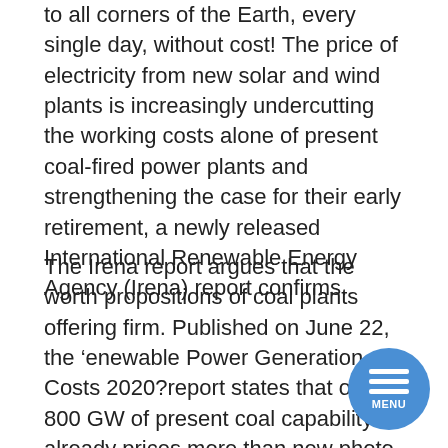to all corners of the Earth, every single day, without cost! The price of electricity from new solar and wind plants is increasingly undercutting the working costs alone of present coal-fired power plants and strengthening the case for their early retirement, a newly released International Renewable Energy Agency (Irena) report confirms.
The Irena report argues that the worth propositions of coal plants offering firm. Published on June 22, the ‘Renewable Power Generation Costs 2020’ report states that over 800 GW of present coal capability already prices more than new photo voltaic photovoltaic (PV) or onshore wind projects commissioned in 2021. It adds that retiring these plants would cut back power generation prices by up to $32.3-billion yearly. An evaluation of coal plants in Germany and Bulgaria exhibits that all these plants have already got higher operating prices right this moment than new photo